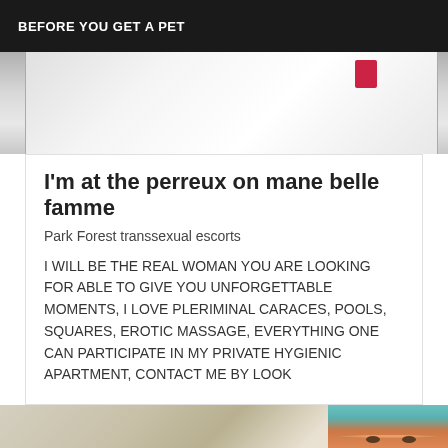BEFORE YOU GET A PET
[Figure (photo): Top partial photo showing white surfaces and a red object, cropped at top]
I'm at the perreux on mane belle famme
Park Forest transsexual escorts
I WILL BE THE REAL WOMAN YOU ARE LOOKING FOR ABLE TO GIVE YOU UNFORGETTABLE MOMENTS, I LOVE PLERIMINAL CARACES, POOLS, SQUARES, EROTIC MASSAGE, EVERYTHING ONE CAN PARTICIPATE IN MY PRIVATE HYGIENIC APARTMENT, CONTACT ME BY LOOK
[Figure (photo): Bottom partial photo showing a painted portrait with red/orange hair and teal background, on a beige wall]